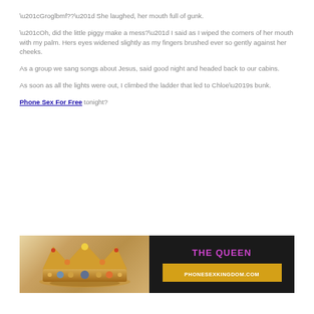“Groglbmf??” She laughed, her mouth full of gunk.
“Oh, did the little piggy make a mess?” I said as I wiped the corners of her mouth with my palm. Hers eyes widened slightly as my fingers brushed ever so gently against her cheeks.
As a group we sang songs about Jesus, said good night and headed back to our cabins.
As soon as all the lights were out, I climbed the ladder that led to Chloe’s bunk.
Phone Sex For Free tonight?
[Figure (illustration): Advertisement banner showing a crown on the left half with a bokeh background, and on the right half a black background with pink text 'THE QUEEN' and a gold box with white text 'PHONESEXKINGDOM.COM']